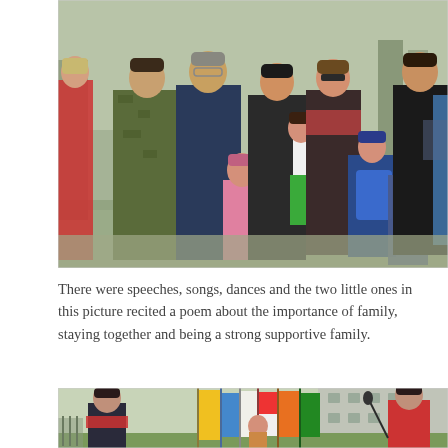[Figure (photo): Group photo of adults and children outdoors. A man in military camouflage uniform stands next to a man in a navy jacket. Several women and children of various ages pose together. Bare trees and a fence visible in the background.]
There were speeches, songs, dances and the two little ones in this picture recited a poem about the importance of family, staying together and being a strong supportive family.
[Figure (photo): Outdoor ceremony with colorful flags including yellow, blue, white, red, and green flags. A woman in a dark jacket with red scarf stands on the left; another woman in a red coat stands on the right near a microphone. Children visible in the middle near the flags. Buildings in the background.]